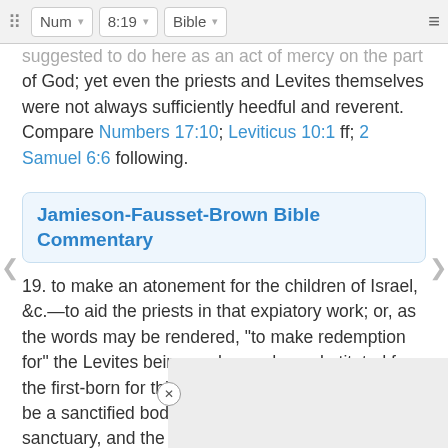Num | 8:19 | Bible
suggested to do here as an act of mercy on the part of God; yet even the priests and Levites themselves were not always sufficiently heedful and reverent. Compare Numbers 17:10; Leviticus 10:1 ff; 2 Samuel 6:6 following.
Jamieson-Fausset-Brown Bible Commentary
19. to make an atonement for the children of Israel, &c.—to aid the priests in that expiatory work; or, as the words may be rendered, "to make redemption for" the Levites being exchanged or substituted for the first-born for this important end, that there might be a sanctified body of men appointed to guard the sanctuary, and the people not allowed to approach or presume to intrude on such sacred precincts as would…
Here…